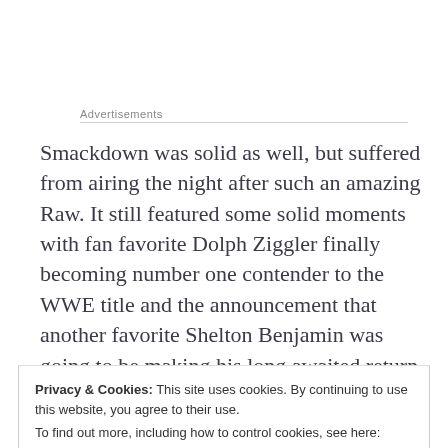Advertisements
Smackdown was solid as well, but suffered from airing the night after such an amazing Raw. It still featured some solid moments with fan favorite Dolph Ziggler finally becoming number one contender to the WWE title and the announcement that another favorite Shelton Benjamin was going to be making his long awaited return to the WWE
Privacy & Cookies: This site uses cookies. By continuing to use this website, you agree to their use.
To find out more, including how to control cookies, see here: Cookie Policy
listening to the fans and paying attention to crowd